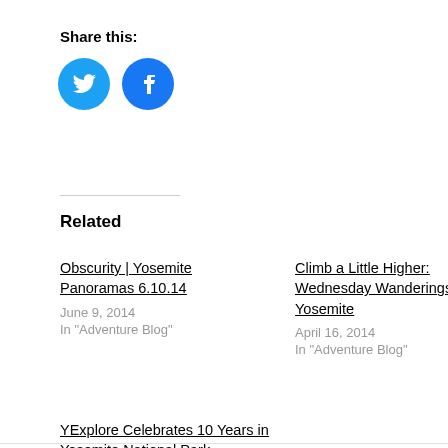Share this:
[Figure (illustration): Two social media icon circles: Twitter (blue) and Facebook (blue) with respective logos]
Related
Obscurity | Yosemite Panoramas 6.10.14
June 9, 2014
In "Adventure Blog"
Climb a Little Higher: Wednesday Wanderings in Yosemite
April 16, 2014
In "Adventure Blog"
YExplore Celebrates 10 Years in Yosemite National Park
February 4, 2016
In "Adventure Blog"